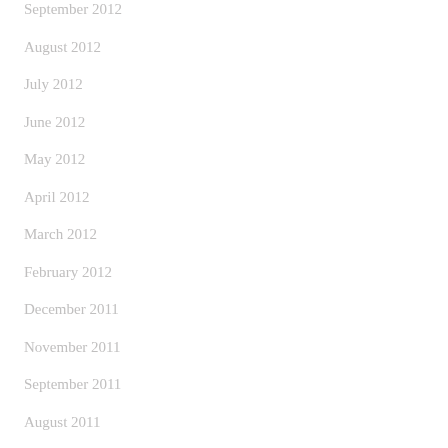September 2012
August 2012
July 2012
June 2012
May 2012
April 2012
March 2012
February 2012
December 2011
November 2011
September 2011
August 2011
July 2011